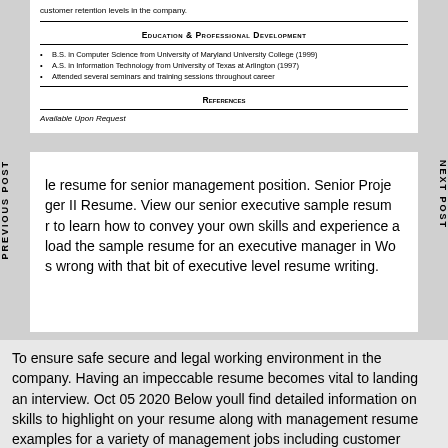customer retention levels in the company.
Education & Professional Development
B.S. in Computer Science from University of Maryland University College (1999)
A.S. in Information Technology from University of Texas at Arlington (1997)
Attended several seminars and training sessions throughout career
References
Available Upon Request
le resume for senior management position. Senior Proje ger II Resume. View our senior executive sample resum r to learn how to convey your own skills and experience a load the sample resume for an executive manager in Wo s wrong with that bit of executive level resume writing.
To ensure safe secure and legal working environment in the company. Having an impeccable resume becomes vital to landing an interview. Oct 05 2020 Below youll find detailed information on skills to highlight on your resume along with management resume examples for a variety of management jobs including customer service finance human resources operations technical and general